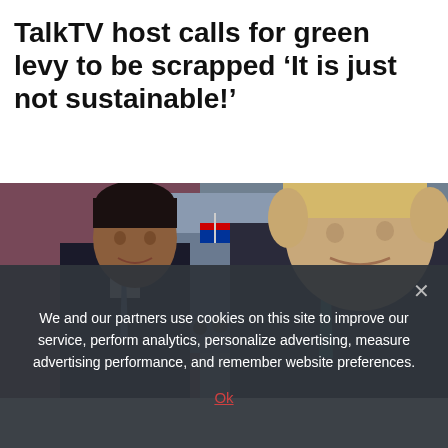TalkTV host calls for green levy to be scrapped 'It is just not sustainable!'
[Figure (photo): Composite photo showing two politicians: on the left, Rishi Sunak in a dark suit with blue tie; on the right, Boris Johnson in a dark suit with teal/green tie. In the background center, a crowd waving Union Jack flags.]
We and our partners use cookies on this site to improve our service, perform analytics, personalize advertising, measure advertising performance, and remember website preferences.
Ok